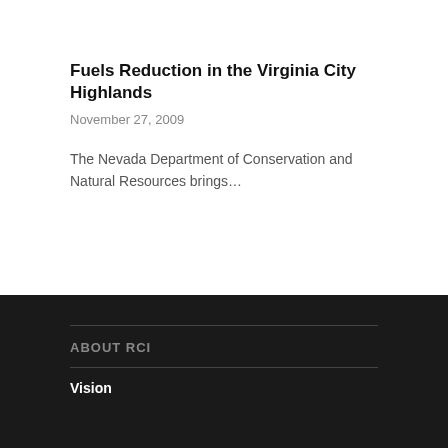Fuels Reduction in the Virginia City Highlands
November 27, 2009
The Nevada Department of Conservation and Natural Resources brings…
ABOUT RCI
Vision